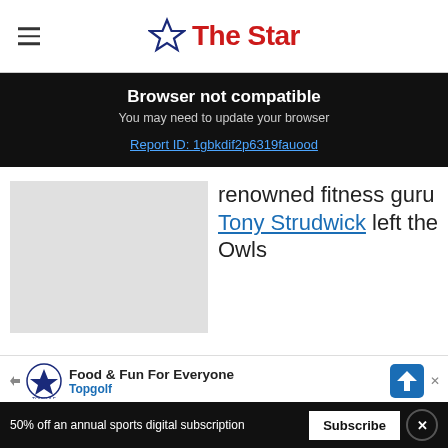The Star
Browser not compatible
You may need to update your browser
Report ID: 1gbkdif2p6319fauood
renowned fitness guru Tony Strudwick left the Owls
Food & Fun For Everyone Topgolf
50% off an annual sports digital subscription Subscribe